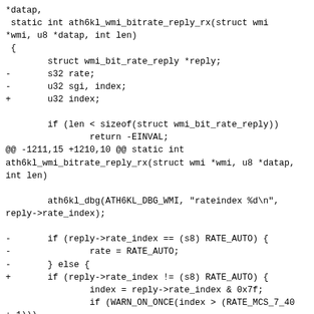*datap,
 static int ath6kl_wmi_bitrate_reply_rx(struct wmi
*wmi, u8 *datap, int len)
 {
        struct wmi_bit_rate_reply *reply;
-       s32 rate;
-       u32 sgi, index;
+       u32 index;

        if (len < sizeof(struct wmi_bit_rate_reply))
                return -EINVAL;
@@ -1211,15 +1210,10 @@ static int
ath6kl_wmi_bitrate_reply_rx(struct wmi *wmi, u8 *datap,
int len)

        ath6kl_dbg(ATH6KL_DBG_WMI, "rateindex %d\n",
reply->rate_index);

-       if (reply->rate_index == (s8) RATE_AUTO) {
-               rate = RATE_AUTO;
-       } else {
+       if (reply->rate_index != (s8) RATE_AUTO) {
                index = reply->rate_index & 0x7f;
                if (WARN_ON_ONCE(index > (RATE_MCS_7_40
+ 1)))
                        return -EINVAL;
-
-               sgi = (reply->rate_index & 0x80) ? 1 :
0;
-               rate = wmi_rate_tbl[index][sgi];